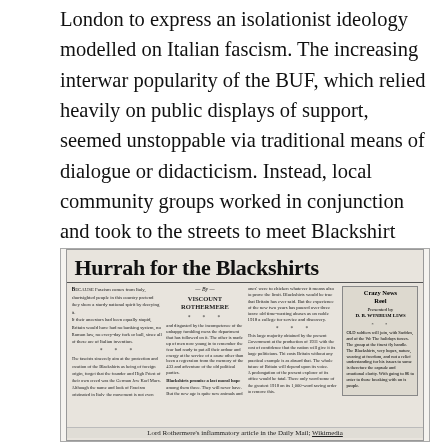London to express an isolationist ideology modelled on Italian fascism. The increasing interwar popularity of the BUF, which relied heavily on public displays of support, seemed unstoppable via traditional means of dialogue or didacticism. Instead, local community groups worked in conjunction and took to the streets to meet Blackshirt violence head on and to suppress the spread of hate speech.
[Figure (photo): Scanned newspaper clipping with headline 'Hurrah for the Blackshirts' by Viscount Rothermere from the Daily Mail, alongside an advertisement for 'Crazy News Reel' presented by D.B. Wyndham Lewis.]
Lord Rothermere's inflammatory article in the Daily Mail; Wikimedia